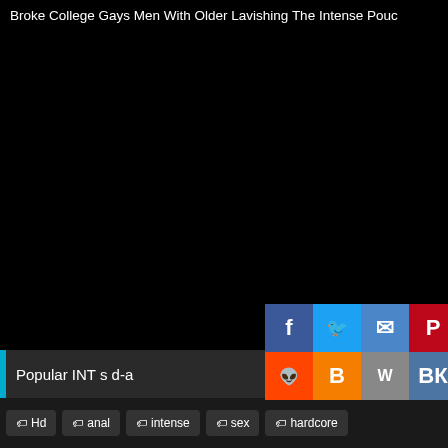Broke College Gays Men With Older Lavishing The Intense Pouc
[Figure (photo): Large black video player area taking up most of the page]
Popular INT s d-a
Hd
anal
intense
sex
hardcore